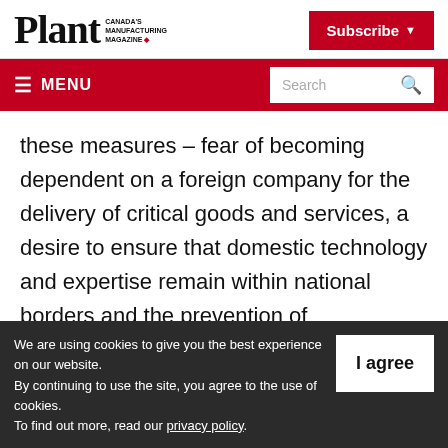Plant CANADA'S MANUFACTURING MAGAZINE
Subscribe
≡ MENU | Search
these measures – fear of becoming dependent on a foreign company for the delivery of critical goods and services, a desire to ensure that domestic technology and expertise remain within national borders and the prevention of surveillance or sabotage of
We are using cookies to give you the best experience on our website. By continuing to use the site, you agree to the use of cookies. To find out more, read our privacy policy.